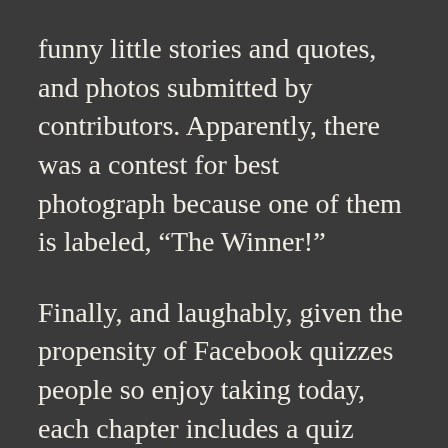funny little stories and quotes, and photos submitted by contributors. Apparently, there was a contest for best photograph because one of them is labeled, “The Winner!”
Finally, and laughably, given the propensity of Facebook quizzes people so enjoy taking today, each chapter includes a quiz entitled, “R U A Yankee Cook?” Well now, are you? Can you identify the foods crackling, huff juffs, menhaden, or slip-gut? Do you know how to prepare souse, bloaters, bean